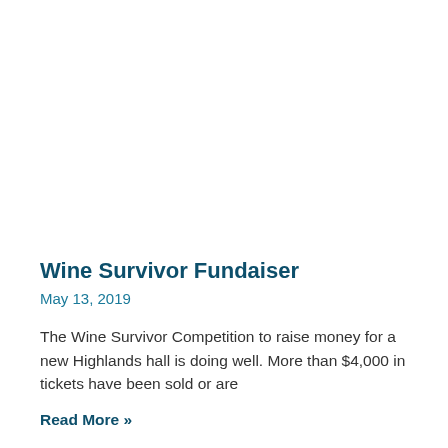Wine Survivor Fundaiser
May 13, 2019
The Wine Survivor Competition to raise money for a new Highlands hall is doing well. More than $4,000 in tickets have been sold or are
Read More »